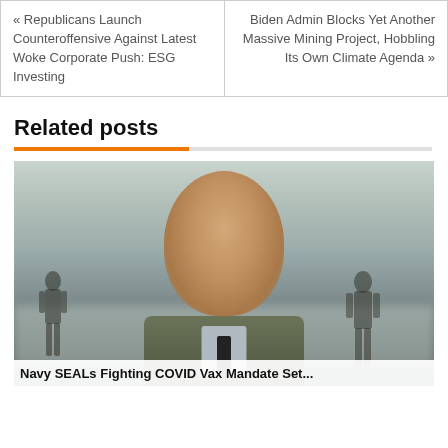« Republicans Launch Counteroffensive Against Latest Woke Corporate Push: ESG Investing
Biden Admin Blocks Yet Another Massive Mining Project, Hobbling Its Own Climate Agenda »
Related posts
[Figure (photo): Portrait of a US military general in uniform, with soldiers running in the background.]
Navy SEALs Fighting COVID Vax Mandate Set...